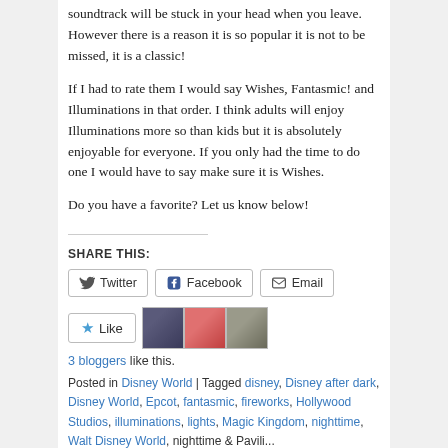soundtrack will be stuck in your head when you leave. However there is a reason it is so popular it is not to be missed, it is a classic!
If I had to rate them I would say Wishes, Fantasmic! and Illuminations in that order. I think adults will enjoy Illuminations more so than kids but it is absolutely enjoyable for everyone. If you only had the time to do one I would have to say make sure it is Wishes.
Do you have a favorite? Let us know below!
SHARE THIS:
Twitter | Facebook | Email
Like | 3 bloggers like this.
Posted in Disney World | Tagged disney, Disney after dark, Disney World, Epcot, fantasmic, fireworks, Hollywood Studios, illuminations, lights, Magic Kingdom, nighttime, Walt Disney World, nighttime & Pavilions